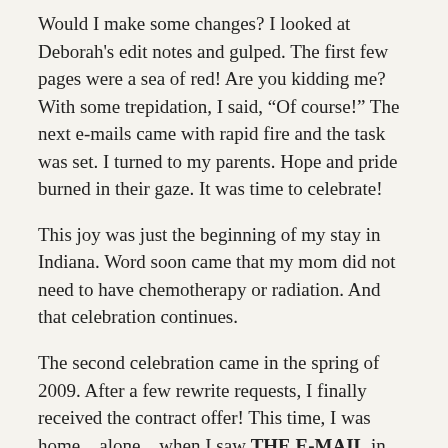Would I make some changes? I looked at Deborah’s edit notes and gulped. The first few pages were a sea of red! Are you kidding me? With some trepidation, I said, “Of course!” The next e-mails came with rapid fire and the task was set. I turned to my parents. Hope and pride burned in their gaze. It was time to celebrate!
This joy was just the beginning of my stay in Indiana. Word soon came that my mom did not need to have chemotherapy or radiation. And that celebration continues.
The second celebration came in the spring of 2009. After a few rewrite requests, I finally received the contract offer! This time, I was home…alone…when I saw THE E-MAIL in my Inbox. SQUEE! I dropped to my knees. I read the e-mail again and again and